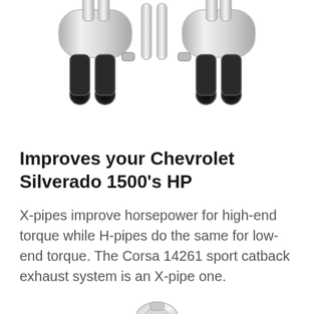[Figure (photo): Product photo of a chrome exhaust system with multiple mufflers and black dual exhaust tips, viewed from above/side angle on white background]
Improves your Chevrolet Silverado 1500's HP
X-pipes improve horsepower for high-end torque while H-pipes do the same for low-end torque. The Corsa 14261 sport catback exhaust system is an X-pipe one.
[Figure (photo): Partial product photo of a small metal exhaust component, partially visible at the bottom of the page]